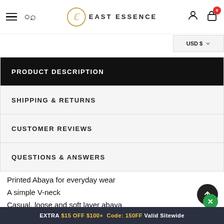East Essence — navigation header with hamburger, search, logo, user and cart icons
USD $
PRODUCT DESCRIPTION
SHIPPING & RETURNS
CUSTOMER REVIEWS
QUESTIONS & ANSWERS
Printed Abaya for everyday wear
A simple V-neck
Casual, loose and soft layer abaya
Front with intricate lace and fabric buttons
Full Sleeves
EXTRA $15 OFF $100+ Code: 150FF Valid Sitewide